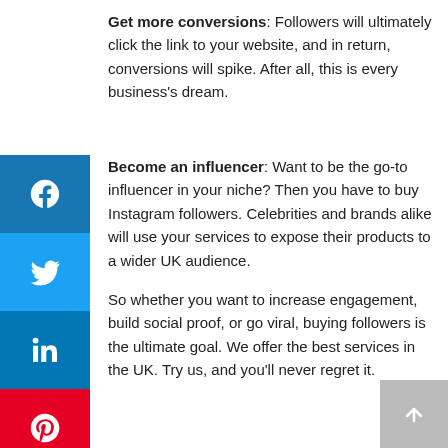Get more conversions: Followers will ultimately click the link to your website, and in return, conversions will spike. After all, this is every business's dream.
Become an influencer: Want to be the go-to influencer in your niche? Then you have to buy Instagram followers. Celebrities and brands alike will use your services to expose their products to a wider UK audience.
So whether you want to increase engagement, build social proof, or go viral, buying followers is the ultimate goal. We offer the best services in the UK. Try us, and you'll never regret it.
How it Happens!!
Pick your desired package: Want 10K or 100k followers? Choose the ideal package from the existing ones.
Enter your details: We only need your Instagram username and email address. No passwords or contacts required.